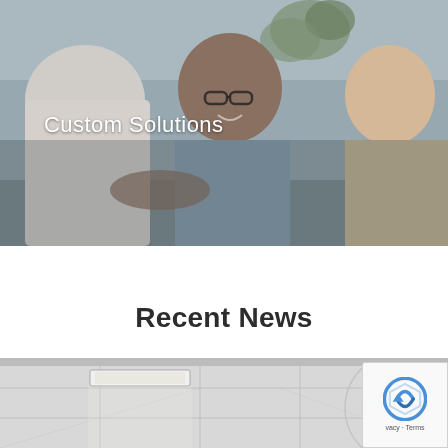[Figure (photo): Three people at a meeting table shaking hands and smiling. A man with glasses and a blue shirt is shaking hands with someone whose back is to the camera. A blonde woman smiles in the background. A plant is visible behind the man.]
Custom Solutions
Recent News
[Figure (photo): Interior office space with white ceiling tiles and recessed lighting. Partial view of a round design or logo on the floor or wall.]
[Figure (other): reCAPTCHA logo and Privacy - Terms text]